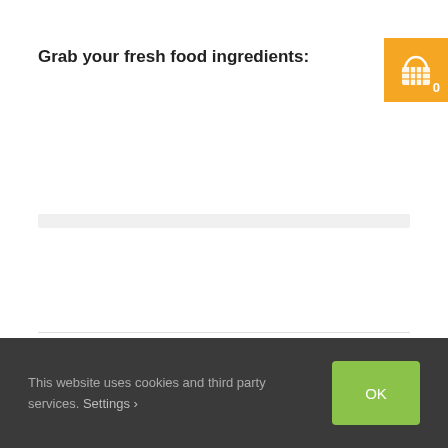Grab your fresh food ingredients:
[Figure (illustration): Orange shopping basket icon with the number 0]
By Lay Ean Eng | April 19th, 2018 | Nyonya Cuisine Made Simple, Penang Hawker | 0 Comments
This website uses cookies and third party services. Settings ›